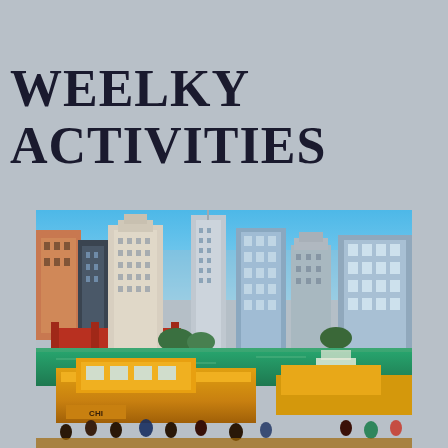WEELKY ACTIVITIES
[Figure (photo): Photo of Chicago River with yellow water taxi boat in foreground, Chicago skyline with skyscrapers including the Wrigley Building and Trump Tower in the background, blue sky, green river water]